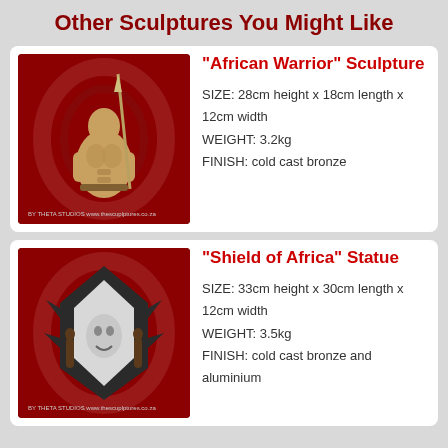Other Sculptures You Might Like
[Figure (photo): Bronze sculpture of an African warrior holding a spear, on a red background with circular spiral design. Watermark: by THETA STUDIOS www.thescuplptures.co.za]
"African Warrior" Sculpture
SIZE: 28cm height x 18cm length x 12cm width
WEIGHT: 3.2kg
FINISH: cold cast bronze
[Figure (photo): Bronze and aluminium sculpture of a shield of Africa shape with figures on sides and a face in the center, on red background. Watermark: by THETA STUDIOS www.thescuplptures.co.za]
"Shield of Africa" Statue
SIZE: 33cm height x 30cm length x 12cm width
WEIGHT: 3.5kg
FINISH: cold cast bronze and aluminium